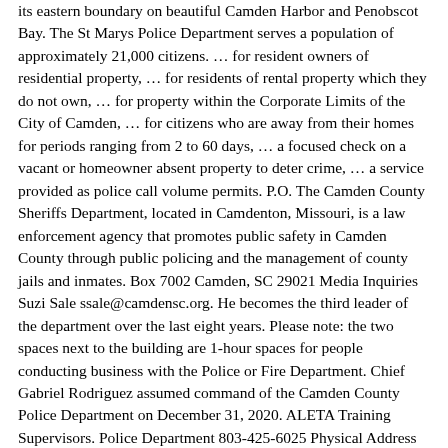its eastern boundary on beautiful Camden Harbor and Penobscot Bay. The St Marys Police Department serves a population of approximately 21,000 citizens. … for resident owners of residential property, … for residents of rental property which they do not own, … for property within the Corporate Limits of the City of Camden, … for citizens who are away from their homes for periods ranging from 2 to 60 days, … a focused check on a vacant or homeowner absent property to deter crime, … a service provided as police call volume permits. P.O. The Camden County Sheriffs Department, located in Camdenton, Missouri, is a law enforcement agency that promotes public safety in Camden County through public policing and the management of county jails and inmates. Box 7002 Camden, SC 29021 Media Inquiries Suzi Sale ssale@camdensc.org. He becomes the third leader of the department over the last eight years. Please note: the two spaces next to the building are 1-hour spaces for people conducting business with the Police or Fire Department. Chief Gabriel Rodriguez assumed command of the Camden County Police Department on December 31, 2020. ALETA Training Supervisors. Police Department 803-425-6025 Physical Address 1000 Lyttleton Street Camden, SC 29020 Mailing Address P.O. 803-425-6025, Physical Address The fire occurred on the 1600 block of Lyttleton Street shortly after 5 … Zsakhiem James, of the Camden County Police Department , performs with his K9 partner, named "Zero," during a day of action, organized by the CCPD, which included